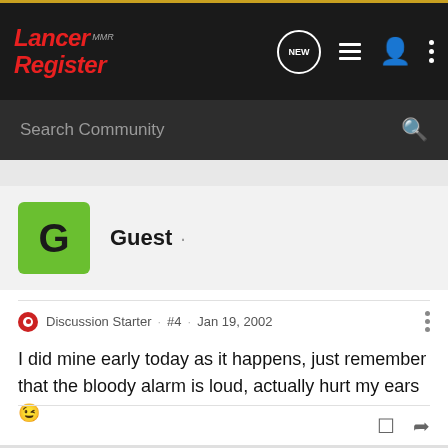Lancer Register · Navigation bar with NEW, list, user, and more icons
Search Community
Guest ·
Discussion Starter · #4 · Jan 19, 2002
I did mine early today as it happens, just remember that the bloody alarm is loud, actually hurt my ears 😉